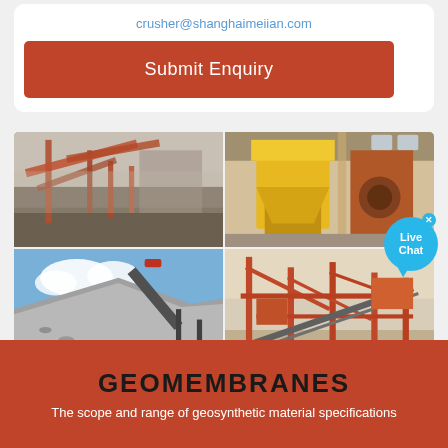crusher@shanghaimeiian.com
Submit Enquiry
[Figure (photo): Four-panel grid of industrial mining/crushing machinery: top-left shows outdoor crushing plant with orange framework and conveyor belts; top-right shows yellow industrial machinery in a factory building with jaw crusher; bottom-left shows gravel pile with conveyor belt against blue sky; bottom-right shows large outdoor crushing/screening plant with orange framework]
GEOMEMBRANES
The scope and range of geosynthetic material specifications